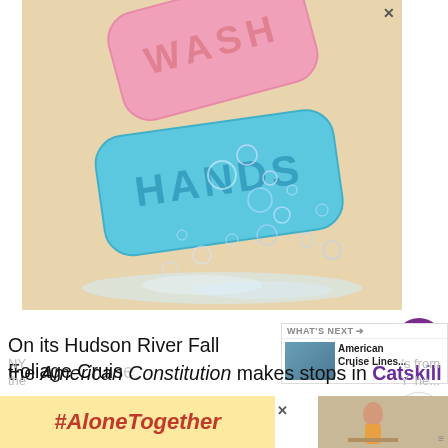[Figure (photo): Advertisement photo of two soap bars — one pink with 'WASH' embossed and one teal/blue with 'HANDS' embossed — surrounded by soap bubbles on a beige background.]
110
WHAT'S NEXT → American Cruise Lines...
On its Hudson River Fall Foliage Cruise the American Constitution makes stops in Catskill
[Figure (photo): Bottom advertisement banner with yellow background showing #AloneTogether hashtag in red italic bold text.]
[Figure (photo): Bottom right advertisement thumbnail showing a woman in kitchen.]
NY... from the... Y 'he...